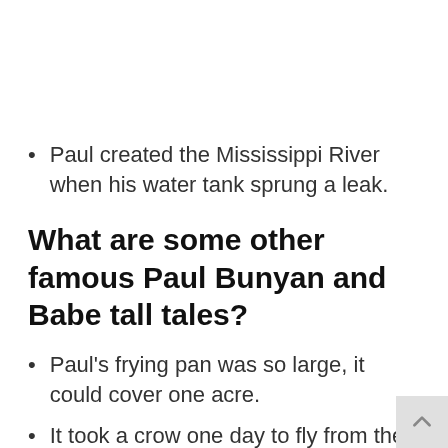Paul created the Mississippi River when his water tank sprung a leak.
What are some other famous Paul Bunyan and Babe tall tales?
Paul's frying pan was so large, it could cover one acre.
It took a crow one day to fly from the tip of Babe's horn to the other horn.
Babe took his color from blue snow that